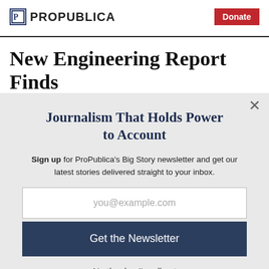ProPublica | Donate
New Engineering Report Finds
Journalism That Holds Power to Account
Sign up for ProPublica's Big Story newsletter and get our latest stories delivered straight to your inbox.
you@example.com
Get the Newsletter
No thanks, I'm all set
This site is protected by reCAPTCHA and the Google Privacy Policy and Terms of Service apply.